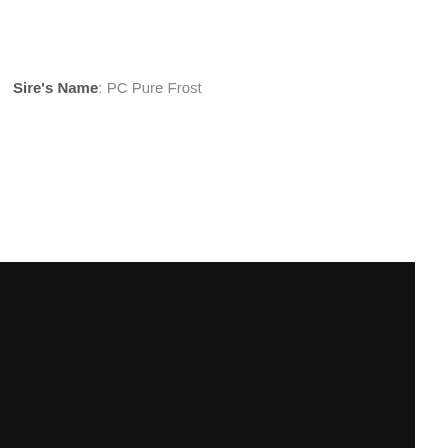Sire's Name: PC Pure Frost
We use cookies to track usage and preferences  Learn more
Got it!